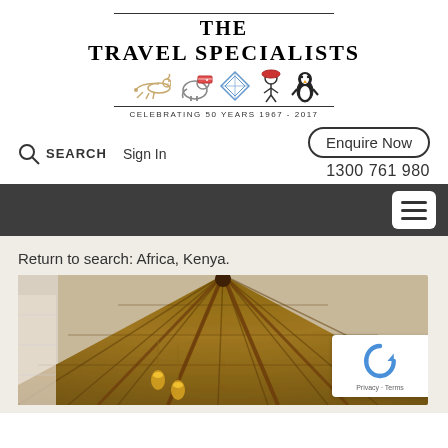[Figure (logo): The Travel Specialists logo with brand name, animal icons (cheetah, elephant, geometric, person in hat, penguin), decorative lines, and 'CELEBRATING 50 YEARS 1967 - 2017' tagline]
SEARCH   Sign In
Enquire Now
1300 761 980
[Figure (screenshot): Dark navigation bar with white hamburger menu button (three horizontal bars)]
Return to search: Africa, Kenya.
[Figure (photo): Interior photo showing a thatched roof structure with wooden beams radiating from center, hanging pendant lights, viewed from below. African lodge interior.]